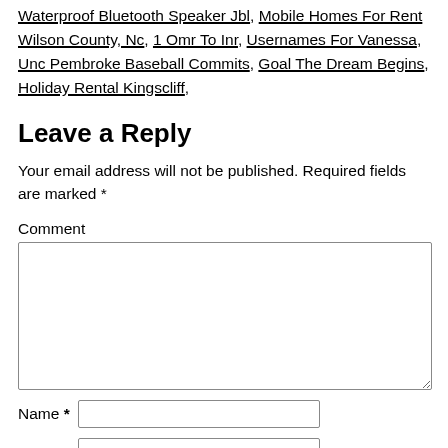Waterproof Bluetooth Speaker Jbl, Mobile Homes For Rent Wilson County, Nc, 1 Omr To Inr, Usernames For Vanessa, Unc Pembroke Baseball Commits, Goal The Dream Begins, Holiday Rental Kingscliff,
Leave a Reply
Your email address will not be published. Required fields are marked *
Comment
Name *
[Name input field]
[Second input field]